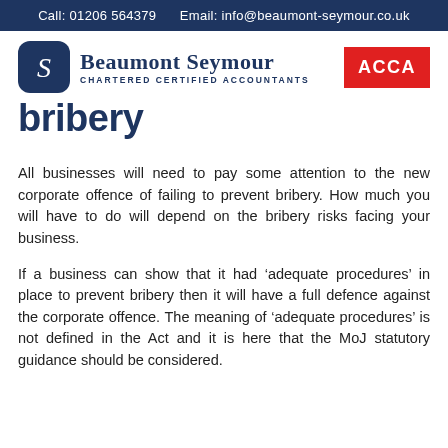Call: 01206 564379     Email: info@beaumont-seymour.co.uk
[Figure (logo): Beaumont Seymour Chartered Certified Accountants logo with dark navy rounded-square icon and ACCA badge]
bribery
All businesses will need to pay some attention to the new corporate offence of failing to prevent bribery. How much you will have to do will depend on the bribery risks facing your business.
If a business can show that it had ‘adequate procedures’ in place to prevent bribery then it will have a full defence against the corporate offence. The meaning of ‘adequate procedures’ is not defined in the Act and it is here that the MoJ statutory guidance should be considered.